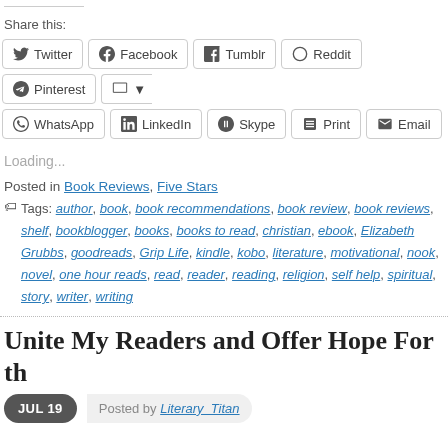Share this:
Twitter, Facebook, Tumblr, Reddit, Pinterest, Pocket, WhatsApp, LinkedIn, Skype, Print, Email
Loading...
Posted in Book Reviews, Five Stars
Tags: author, book, book recommendations, book review, book reviews, shelf, bookblogger, books, books to read, christian, ebook, Elizabeth Grubbs, goodreads, Grip Life, kindle, kobo, literature, motivational, nook, novel, one hour reads, read, reader, reading, religion, self help, spiritual, story, writer, writing
Unite My Readers and Offer Hope For th
JUL 19   Posted by Literary_Titan